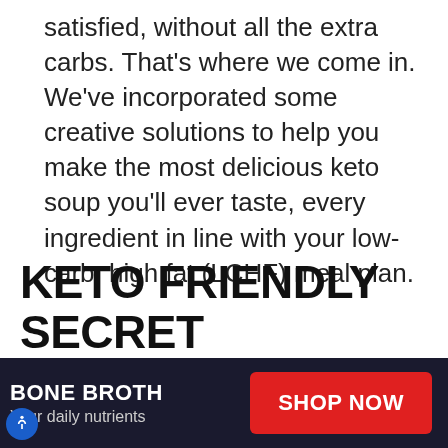satisfied, without all the extra carbs. That's where we come in. We've incorporated some creative solutions to help you make the most delicious keto soup you'll ever taste, every ingredient in line with your low-carb, high fat (LCHF) meal plan.
KETO FRIENDLY SECRET INGREDIENT TO USE INSTEAD OF POTATOES
BONE BROTH
Your daily nutrients
SHOP NOW